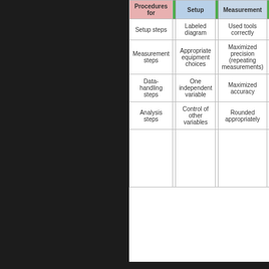| Procedures for |  | Setup |  | Measurement |  |
| --- | --- | --- | --- | --- | --- |
| Setup steps |  | Labeled diagram |  | Used tools correctly |  |
| Measurement steps |  | Appropriate equipment choices |  | Maximized precision (repeating measurements) |  |
| Data-handling steps |  | One independent variable |  | Maximized accuracy |  |
| Analysis steps |  | Control of other variables |  | Rounded appropriately |  |
|  |  |  |  |  |  |
My plan this year is to move to checklists. They are more objectives and expectations in my rubrics anyway.
Choose platform(s) for submission, refl...
The choice of platform is a combination of personal pref... parties. You need a good way to collect student work and record of it. This might be a combination of systems. Fo... rubrics. Students can grab one, or I can, and use them to... Or you can use them for a grade as well.